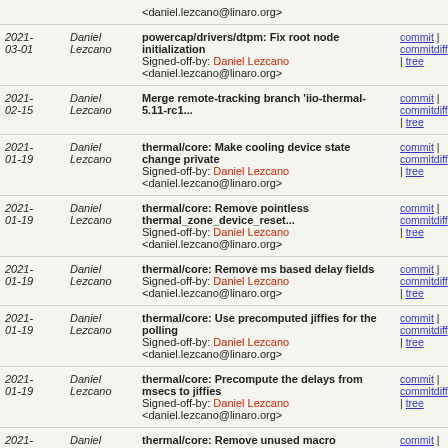| Date | Author | Message | Links |
| --- | --- | --- | --- |
|  |  | <daniel.lezcano@linaro.org> | commit | commitdiff | tree |
| 2021-03-01 | Daniel Lezcano | powercap/drivers/dtpm: Fix root node initialization
Signed-off-by: Daniel Lezcano <daniel.lezcano@linaro.org> | commit | commitdiff | tree |
| 2021-02-15 | Daniel Lezcano | Merge remote-tracking branch 'iio-thermal-5.11-rc1... | commit | commitdiff | tree |
| 2021-01-19 | Daniel Lezcano | thermal/core: Make cooling device state change private
Signed-off-by: Daniel Lezcano <daniel.lezcano@linaro.org> | commit | commitdiff | tree |
| 2021-01-19 | Daniel Lezcano | thermal/core: Remove pointless thermal_zone_device_reset...
Signed-off-by: Daniel Lezcano <daniel.lezcano@linaro.org> | commit | commitdiff | tree |
| 2021-01-19 | Daniel Lezcano | thermal/core: Remove ms based delay fields
Signed-off-by: Daniel Lezcano <daniel.lezcano@linaro.org> | commit | commitdiff | tree |
| 2021-01-19 | Daniel Lezcano | thermal/core: Use precomputed jiffies for the polling
Signed-off-by: Daniel Lezcano <daniel.lezcano@linaro.org> | commit | commitdiff | tree |
| 2021-01-19 | Daniel Lezcano | thermal/core: Precompute the delays from msecs to jiffies
Signed-off-by: Daniel Lezcano <daniel.lezcano@linaro.org> | commit | commitdiff | tree |
| 2021-01-19 | Daniel Lezcano | thermal/core: Remove unused macro | commit | commitdiff | tree |